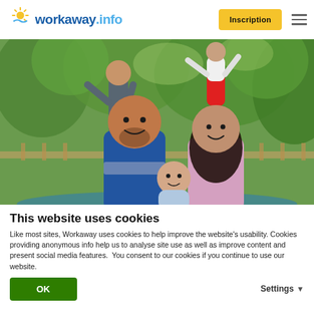[Figure (logo): Workaway.info logo with sun graphic in header]
[Figure (photo): A smiling family outdoors with a trampoline and trees in the background. A man in a blue striped shirt, a woman holding a baby, and two children behind them.]
This website uses cookies
Like most sites, Workaway uses cookies to help improve the website's usability. Cookies providing anonymous info help us to analyse site use as well as improve content and present social media features.  You consent to our cookies if you continue to use our website.
OK
Settings